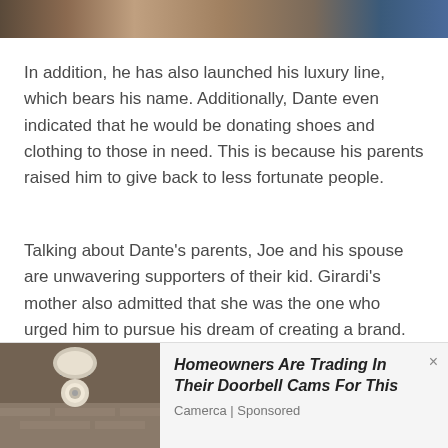[Figure (photo): Top banner image showing a partial view of a building with brick wall and blue sky]
In addition, he has also launched his luxury line, which bears his name. Additionally, Dante even indicated that he would be donating shoes and clothing to those in need. This is because his parents raised him to give back to less fortunate people.
Talking about Dante's parents, Joe and his spouse are unwavering supporters of their kid. Girardi's mother also admitted that she was the one who urged him to pursue his dream of creating a brand. And since he has done that, Kim is very proud of him. Likewise, Joe is also thrilled that his kid is succeeding in life.
[Figure (photo): Advertisement image showing a security camera mounted on a wall bracket]
Homeowners Are Trading In Their Doorbell Cams For This
Camerca | Sponsored